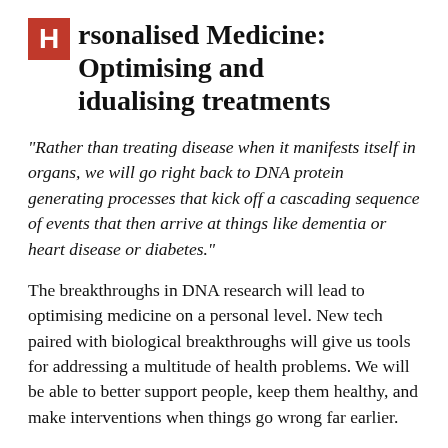Personalised Medicine: Optimising and Individualising treatments
"Rather than treating disease when it manifests itself in organs, we will go right back to DNA protein generating processes that kick off a cascading sequence of events that then arrive at things like dementia or heart disease or diabetes."
The breakthroughs in DNA research will lead to optimising medicine on a personal level. New tech paired with biological breakthroughs will give us tools for addressing a multitude of health problems. We will be able to better support people, keep them healthy, and make interventions when things go wrong far earlier.